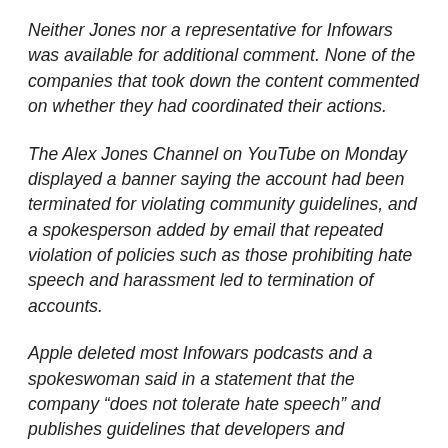Neither Jones nor a representative for Infowars was available for additional comment. None of the companies that took down the content commented on whether they had coordinated their actions.
The Alex Jones Channel on YouTube on Monday displayed a banner saying the account had been terminated for violating community guidelines, and a spokesperson added by email that repeated violation of policies such as those prohibiting hate speech and harassment led to termination of accounts.
Apple deleted most Infowars podcasts and a spokeswoman said in a statement that the company “does not tolerate hate speech” and publishes guidelines that developers and publishers must follow.